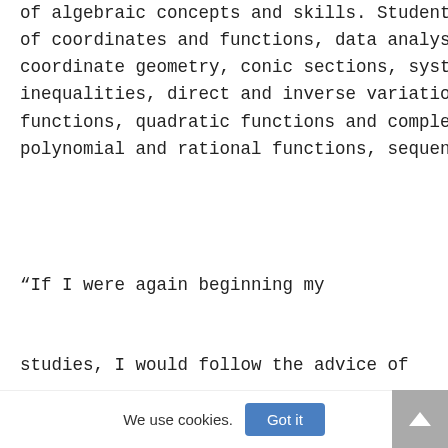of algebraic concepts and skills. Student of coordinates and functions, data analys coordinate geometry, conic sections, syst inequalities, direct and inverse variatio functions, quadratic functions and comple polynomial and rational functions, sequen
“If I were again beginning my
studies, I would follow the advice of